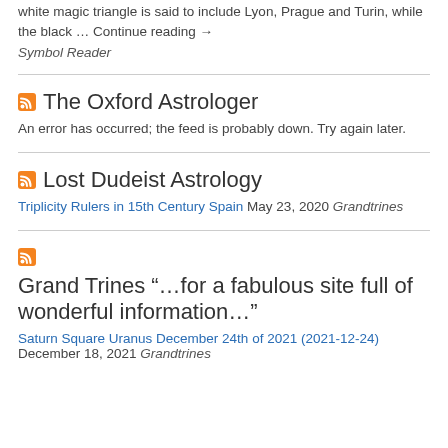white magic triangle is said to include Lyon, Prague and Turin, while the black … Continue reading →
Symbol Reader
The Oxford Astrologer
An error has occurred; the feed is probably down. Try again later.
Lost Dudeist Astrology
Triplicity Rulers in 15th Century Spain May 23, 2020 Grandtrines
Grand Trines “…for a fabulous site full of wonderful information…”
Saturn Square Uranus December 24th of 2021 (2021-12-24) December 18, 2021 Grandtrines